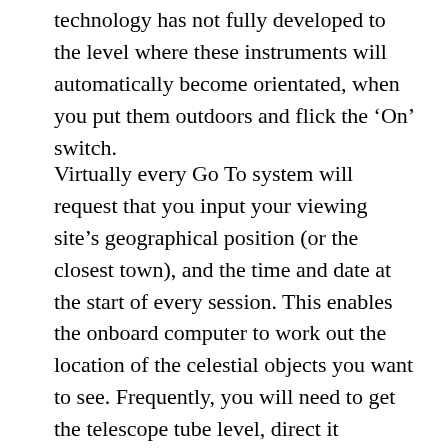technology has not fully developed to the level where these instruments will automatically become orientated, when you put them outdoors and flick the 'On' switch.
Virtually every Go To system will request that you input your viewing site's geographical position (or the closest town), and the time and date at the start of every session. This enables the onboard computer to work out the location of the celestial objects you want to see. Frequently, you will need to get the telescope tube level, direct it northwards (depending on your location), and then commence an alignment process that involves a couple of highly visible stars (that you need